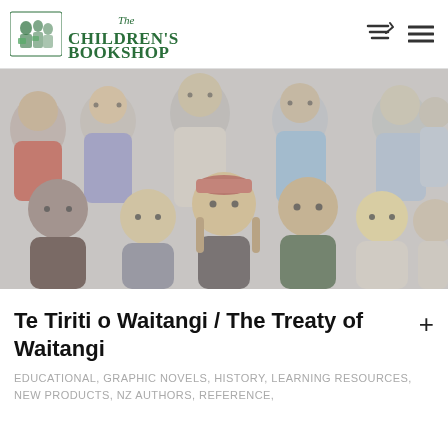The Children's Bookshop
[Figure (illustration): Illustrated crowd of diverse children and teenagers in cartoon style, muted/faded colors, group portrait]
Te Tiriti o Waitangi / The Treaty of Waitangi
EDUCATIONAL, GRAPHIC NOVELS, HISTORY, LEARNING RESOURCES, NEW PRODUCTS, NZ AUTHORS, REFERENCE,